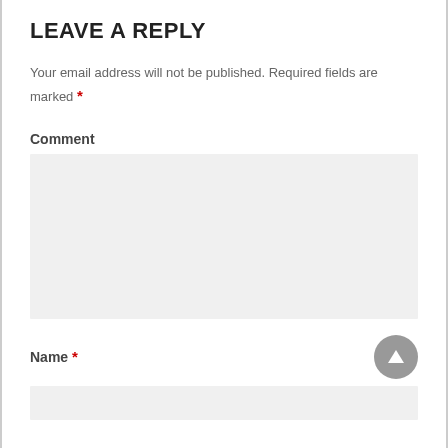LEAVE A REPLY
Your email address will not be published. Required fields are marked *
Comment
[Figure (other): Large empty comment text area input box with light gray background]
Name *
[Figure (other): Up arrow circle button icon in gray]
[Figure (other): Name input field with light gray background]